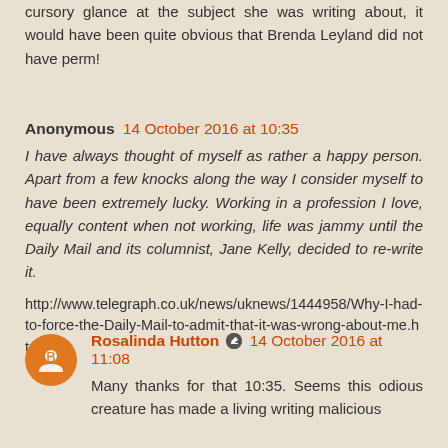cursory glance at the subject she was writing about, it would have been quite obvious that Brenda Leyland did not have perm!
Anonymous 14 October 2016 at 10:35
I have always thought of myself as rather a happy person. Apart from a few knocks along the way I consider myself to have been extremely lucky. Working in a profession I love, equally content when not working, life was jammy until the Daily Mail and its columnist, Jane Kelly, decided to re-write it.
http://www.telegraph.co.uk/news/uknews/1444958/Why-I-had-to-force-the-Daily-Mail-to-admit-that-it-was-wrong-about-me.html
Rosalinda Hutton 14 October 2016 at 11:08
Many thanks for that 10:35. Seems this odious creature has made a living writing malicious